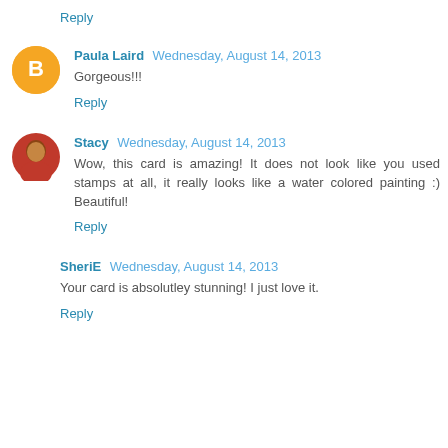Reply
Paula Laird  Wednesday, August 14, 2013
Gorgeous!!!
Reply
Stacy  Wednesday, August 14, 2013
Wow, this card is amazing! It does not look like you used stamps at all, it really looks like a water colored painting :) Beautiful!
Reply
SheriE  Wednesday, August 14, 2013
Your card is absolutley stunning! I just love it.
Reply